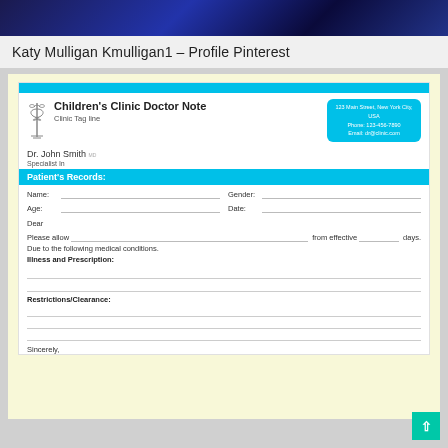[Figure (photo): Dark blue decorative banner image at top of webpage]
Katy Mulligan Kmulligan1 – Profile Pinterest
[Figure (other): Children's Clinic Doctor Note form template with caduceus logo, blue header bar, Patient's Records section, fields for Name, Gender, Age, Date, Dear, Please allow, from effective, days, Due to following medical conditions, Illness and Prescription, Restrictions/Clearance, Sincerely. Doctor: Dr. John Smith, Specialist In. Contact info box in upper right.]
Sincerely,